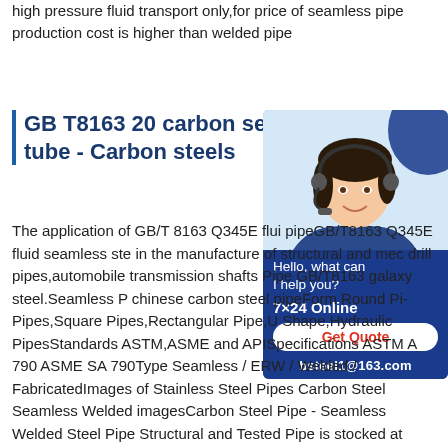high pressure fluid transport only,for price of seamless pipe production cost is higher than welded pipe
GB T8163 20 carbon seamless tube - Carbon steels
[Figure (photo): Customer service representative wearing a headset, smiling. Chat widget with text: Hello, what can I help you? 7×24 Online, Get Quote button, bsteel1@163.com]
The application of GB/T 8163 Q345E fluid pipeGB/T8163 Q345E fluid seamless steel pipe is used in the manufacture of structural and mechanical parts, drill pipes,automobile transmission shafts, Pipe GB/T8163 galaxy steel.Seamless Pipe chinese carbon steel pipeForm Round Pipes,Square Pipes,Rectangular Pipe,U Shape,Hydraulic PipesStandards ASTM,ASME and APISpecifications ASTM A 790 ASME SA 790Type Seamless / ERW / Welded / FabricatedImages of Stainless Steel Pipes Carbon Steel Seamless Welded imagesCarbon Steel Pipe - Seamless Welded Steel Pipe Structural and Tested Pipe is stocked at Industrial